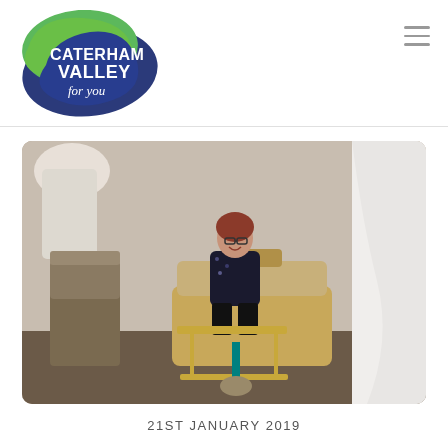[Figure (logo): Caterham Valley for you logo with green and blue overlapping blob shapes and white text]
[Figure (photo): A woman with red-brown hair and glasses wearing a dark floral jacket sits smiling on a gold-framed settee inside a bridal/boutique shop decorated with wedding dresses, feathered items, fairy lights, ornate chairs, a glass-top gold table, and a large window behind her.]
21ST JANUARY 2019